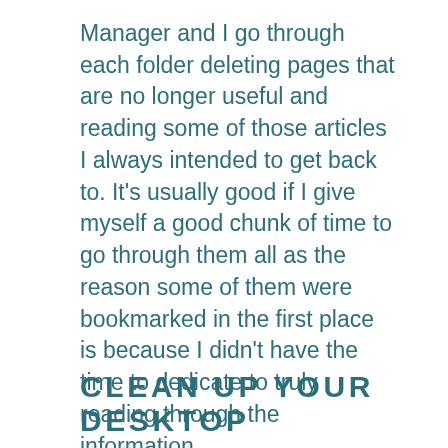Manager and I go through each folder deleting pages that are no longer useful and reading some of those articles I always intended to get back to. It’s usually good if I give myself a good chunk of time to go through them all as the reason some of them were bookmarked in the first place is because I didn’t have the time to dedicate to truly reading through the information.
And if your bookmarks aren’t already organized and are just a mess? This the perfect opportunity to categorize the ones you want to keep as you delete the unnecessary ones.
CLEAN UP YOUR DESKTOP